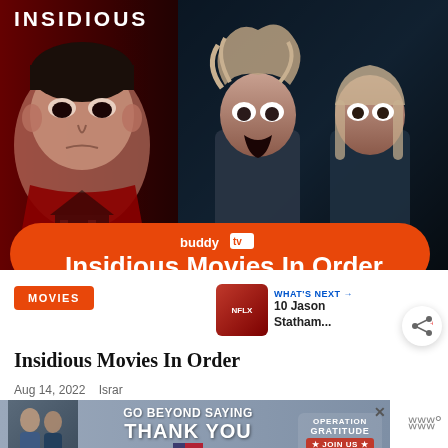[Figure (photo): Hero composite image: left side shows Insidious movie poster with a boy's face in red tones and a haunted house, with 'INSIDIOUS' text; right side shows horror movie scene with two women and a lantern in dark blue tones. Orange pill-shaped banner overlaid at bottom reads 'buddy tv | Insidious Movies In Order'. Share button with '0' count visible at right.]
MOVIES
[Figure (photo): WHAT'S NEXT → 10 Jason Statham... thumbnail showing Netflix-style red background]
Insidious Movies In Order
Aug 14, 2022    Israr
[Figure (photo): Advertisement banner: GO BEYOND SAYING THANK YOU — OPERATION GRATITUDE ★ JOIN US ★ with American flag imagery. Close X button visible.]
If you are a fan of horror movies then you would